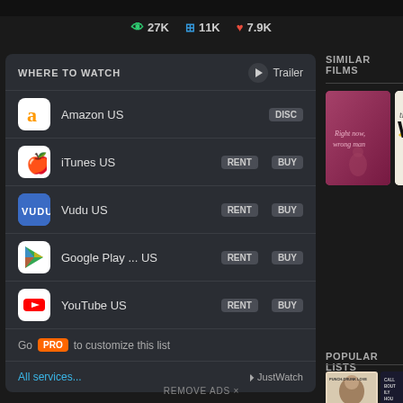👁 27K  ⊞ 11K  ♥ 7.9K
WHERE TO WATCH
Trailer
Amazon US  DISC
iTunes US  RENT  BUY
Vudu US  RENT  BUY
Google Play... US  RENT  BUY
YouTube US  RENT  BUY
Go PRO to customize this list
All services...
⏵JustWatch
SIMILAR FILMS
[Figure (photo): Two film poster thumbnails: a reddish-pink poster and a white poster showing 'the Wo']
POPULAR LISTS
[Figure (photo): Three small movie thumbnails: PUNCH-DRUNK LOVE, CALL ABOUT LILY CHOU, NGKING EXPRESS]
REMOVE ADS ×